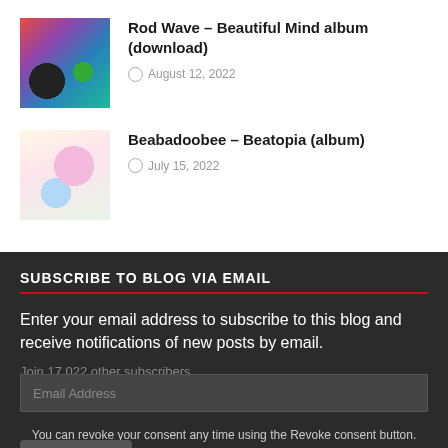[Figure (photo): Album cover for Rod Wave – Beautiful Mind, colorful artistic illustration]
Rod Wave – Beautiful Mind album (download)
August 12, 2022
[Figure (photo): Album cover for Beabadoobee – Beatopia, colorful artistic illustration]
Beabadoobee – Beatopia (album)
July 15, 2022
SUBSCRIBE TO BLOG VIA EMAIL
Enter your email address to subscribe to this blog and receive notifications of new posts by email.
Join 17,022 other subscribers
You can revoke your consent any time using the Revoke consent button.
Email Address
Subscribe
Revoke consent